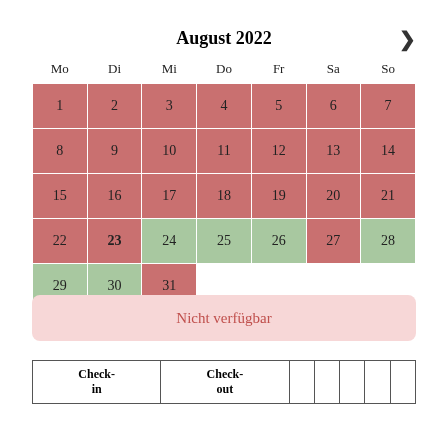August 2022
| Mo | Di | Mi | Do | Fr | Sa | So |
| --- | --- | --- | --- | --- | --- | --- |
| 1 | 2 | 3 | 4 | 5 | 6 | 7 |
| 8 | 9 | 10 | 11 | 12 | 13 | 14 |
| 15 | 16 | 17 | 18 | 19 | 20 | 21 |
| 22 | 23 | 24 | 25 | 26 | 27 | 28 |
| 29 | 30 | 31 |  |  |  |  |
Nicht verfügbar
| Check-in | Check-out |  |  |  |  |  |
| --- | --- | --- | --- | --- | --- | --- |
|  |  |  |  |  |  |  |